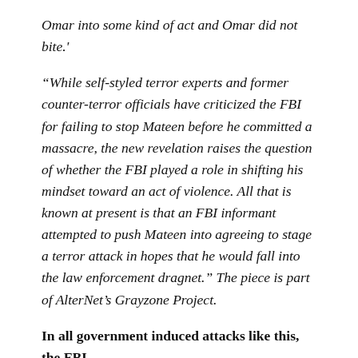Omar into some kind of act and Omar did not bite.'
“While self-styled terror experts and former counter-terror officials have criticized the FBI for failing to stop Mateen before he committed a massacre, the new revelation raises the question of whether the FBI played a role in shifting his mindset toward an act of violence. All that is known at present is that an FBI informant attempted to push Mateen into agreeing to stage a terror attack in hopes that he would fall into the law enforcement dragnet.” The piece is part of AlterNet’s Grayzone Project.
In all government induced attacks like this, the FBI